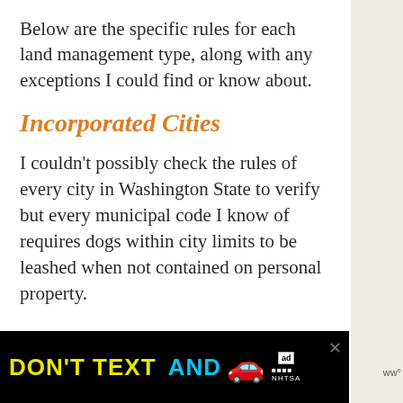Below are the specific rules for each land management type, along with any exceptions I could find or know about.
Incorporated Cities
I couldn't possibly check the rules of every city in Washington State to verify but every municipal code I know of requires dogs within city limits to be leashed when not contained on personal property.
[Figure (other): Advertisement banner: 'DON'T TEXT AND' with car emoji and NHTSA logo on black background]